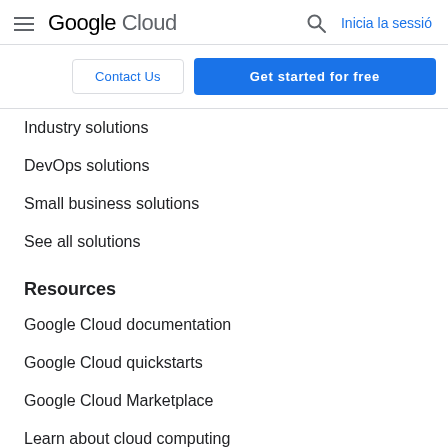Google Cloud — Inicia la sessió
[Figure (screenshot): Google Cloud navigation header with hamburger menu, Google Cloud logo, search icon, and 'Inicia la sessió' link]
Contact Us
Get started for free
Industry solutions
DevOps solutions
Small business solutions
See all solutions
Resources
Google Cloud documentation
Google Cloud quickstarts
Google Cloud Marketplace
Learn about cloud computing
Support